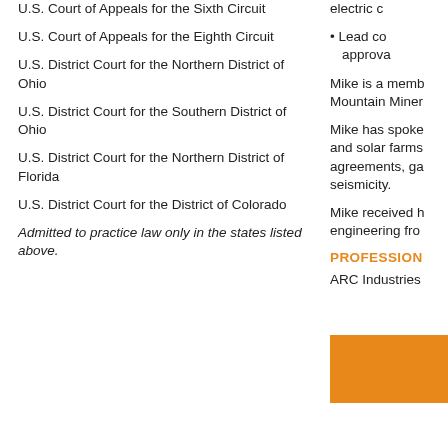U.S. Court of Appeals for the Sixth Circuit
U.S. Court of Appeals for the Eighth Circuit
U.S. District Court for the Northern District of Ohio
U.S. District Court for the Southern District of Ohio
U.S. District Court for the Northern District of Florida
U.S. District Court for the District of Colorado
Admitted to practice law only in the states listed above.
electric c
Lead co
approva
Mike is a memb
Mountain Miner
Mike has spoke
and solar farms
agreements, ga
seismicity.
Mike received h
engineering fro
PROFESSION
ARC Industries